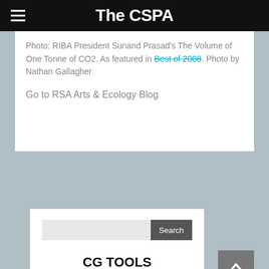The CSPA
Photo: RIBA President Sunand Prasad's The Volume of One Tonne of CO2. As featured in Best of 2008. Photo by Nathan Gallagher
Go to RSA Arts & Ecology Blog
[Figure (other): Search widget with text input and Search button]
[Figure (logo): CG TOOLS CANADA logo in bold black text on white background]
[Figure (other): Back to top button with upward chevron arrow on gray background]